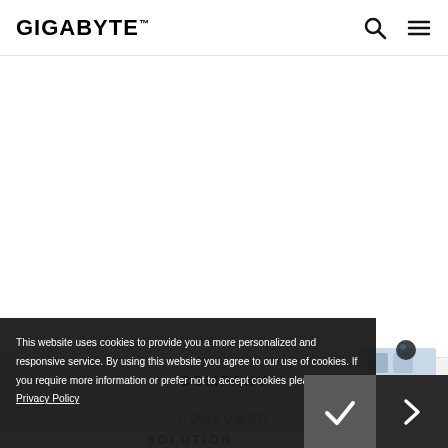GIGABYTE
[Figure (screenshot): Large white empty content area for a banner or hero image]
[Figure (illustration): 3D Industry isometric illustration with teal accent and '3D INDUSTRY >' label]
COMPANY
CONSUMER
This website uses cookies to provide you a more personalized and responsive service. By using this website you agree to our use of cookies. If you require more information or prefer not to accept cookies please visit our Privacy Policy
SOLUTION